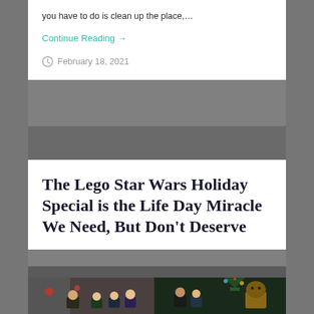you have to do is clean up the place,…
Continue Reading →
February 18, 2021
The Lego Star Wars Holiday Special is the Life Day Miracle We Need, But Don't Deserve
[Figure (photo): Lego Star Wars Holiday Special scene showing Lego minifigures including characters with dark hair and Chewbacca in what appears to be a spaceship interior with a Christmas tree visible on the right side]